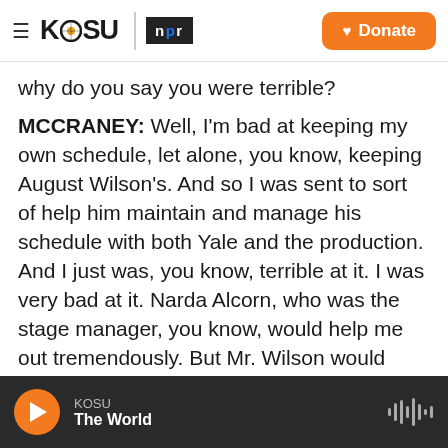KOSU | npr — Donate
why do you say you were terrible?
MCCRANEY: Well, I'm bad at keeping my own schedule, let alone, you know, keeping August Wilson's. And so I was sent to sort of help him maintain and manage his schedule with both Yale and the production. And I just was, you know, terrible at it. I was very bad at it. Narda Alcorn, who was the stage manager, you know, would help me out tremendously. But Mr. Wilson would need a haircut. And I would go, oh, OK, great. And it was like, no, yeah...
GROSS: (Laughter) You're not doing anything about
KOSU — The World